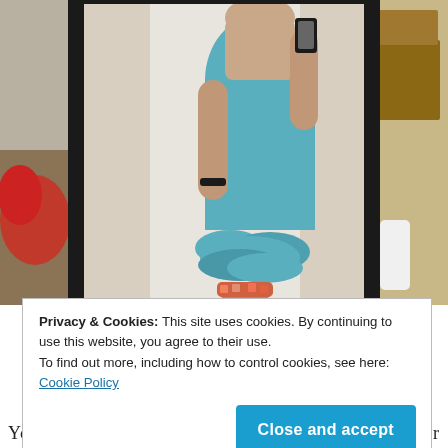[Figure (photo): Person wearing a teal/turquoise sleeveless midi dress with ruffled hem taking a mirror selfie. The room behind shows clutter, shelves, and red/pink items on the left side.]
Privacy & Cookies: This site uses cookies. By continuing to use this website, you agree to their use.
To find out more, including how to control cookies, see here: Cookie Policy
Close and accept
You can click here to see the rest of our